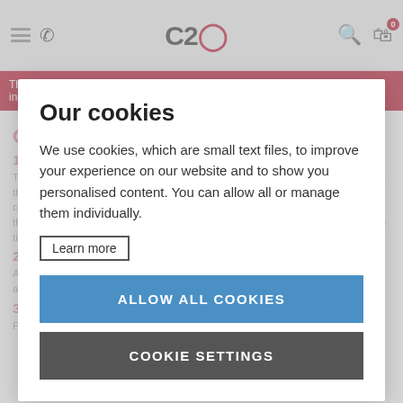C2O - The UK's favourite custom branded clothing company with over 16,000 independent 5 star reviews
Conditions of Use
1. General
These terms and conditions apply to all orders and supersede all others. By using this site, you expressly accept and agree to abide by all the terms and conditions contained in this statement. Do not use this site if you do not accept and agree to these terms and conditions. We may vary these terms and conditions from time to time without notice.
2. Prices
All prices quoted are in £ Sterling, and are exclusive of VAT and Carriage. Prices are based on Clothes2order selecting the best production method for your order.
3. Terms of Payment
Payment for orders shall be by credit card, unless other credit terms
Our cookies
We use cookies, which are small text files, to improve your experience on our website and to show you personalised content. You can allow all or manage them individually.
Learn more
ALLOW ALL COOKIES
COOKIE SETTINGS